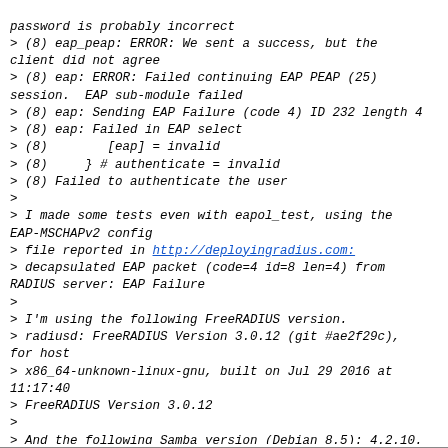password is probably incorrect
> (8) eap_peap: ERROR: We sent a success, but the client did not agree
> (8) eap: ERROR: Failed continuing EAP PEAP (25) session.  EAP sub-module failed
> (8) eap: Sending EAP Failure (code 4) ID 232 length 4
> (8) eap: Failed in EAP select
> (8)        [eap] = invalid
> (8)     } # authenticate = invalid
> (8) Failed to authenticate the user
>
> I made some tests even with eapol_test, using the EAP-MSCHAPv2 config
> file reported in http://deployingradius.com:
> decapsulated EAP packet (code=4 id=8 len=4) from RADIUS server: EAP Failure
>
> I'm using the following FreeRADIUS version.
> radiusd: FreeRADIUS Version 3.0.12 (git #ae2f29c), for host
> x86_64-unknown-linux-gnu, built on Jul 29 2016 at 11:17:40
> FreeRADIUS Version 3.0.12
>
> And the following Samba version (Debian 8.5): 4.2.10.
>
> To understand the problem tell me if you need more accurate log.
> Thanks in advance.